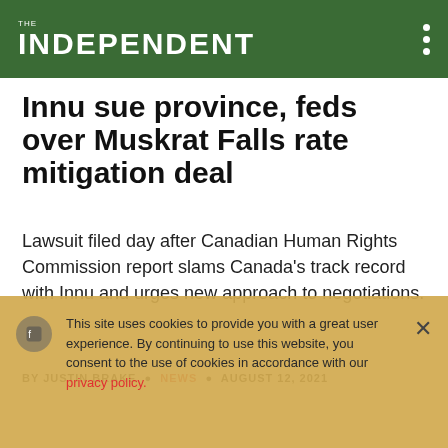THE INDEPENDENT
Innu sue province, feds over Muskrat Falls rate mitigation deal
Lawsuit filed day after Canadian Human Rights Commission report slams Canada's track record with Innu and urges new approach to negotiations.
BY JUSTIN BRAKE • NEWS • AUGUST 12, 2021
This site uses cookies to provide you with a great user experience. By continuing to use this website, you consent to the use of cookies in accordance with our privacy policy.